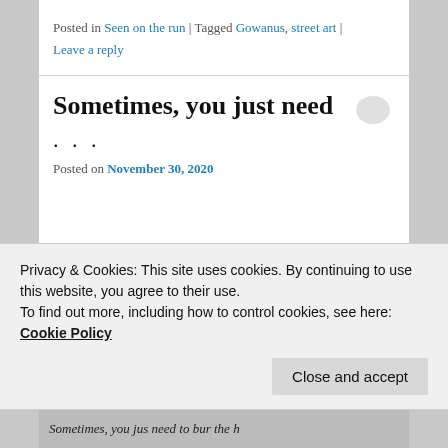Posted in Seen on the run | Tagged Gowanus, street art | Leave a reply
Sometimes, you just need
. . .
Posted on November 30, 2020
Privacy & Cookies: This site uses cookies. By continuing to use this website, you agree to their use. To find out more, including how to control cookies, see here: Cookie Policy
Close and accept
[Figure (photo): Bottom strip showing partial text on an image: 'sometimes, you jus need to bur the h']